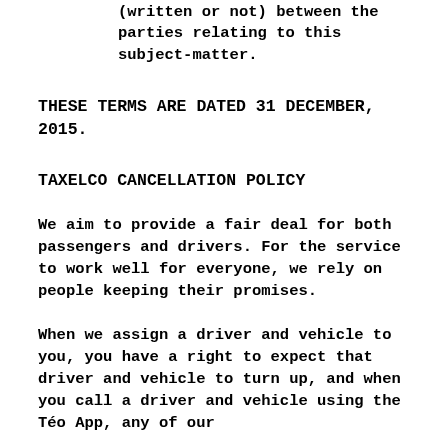(written or not) between the parties relating to this subject-matter.
THESE TERMS ARE DATED 31 DECEMBER, 2015.
TAXELCO CANCELLATION POLICY
We aim to provide a fair deal for both passengers and drivers. For the service to work well for everyone, we rely on people keeping their promises.
When we assign a driver and vehicle to you, you have a right to expect that driver and vehicle to turn up, and when you call a driver and vehicle using the Téo App, any of our